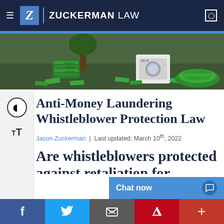Zuckerman Law
[Figure (illustration): Cartoon illustration of money laundering scene with green grass, trees, and piles of money/cash on the ground]
Anti-Money Laundering Whistleblower Protection Law
Jason Zuckerman | Last updated: March 10th, 2022
Are whistleblowers protected against retaliation for disclosing money laundering?
Chat now